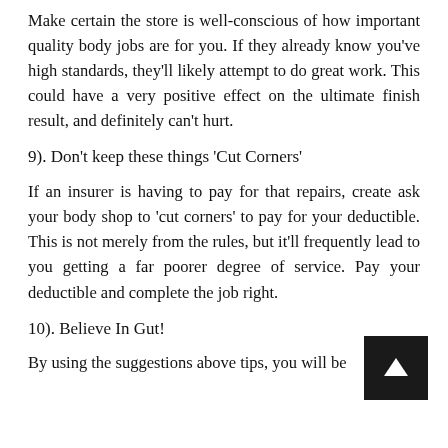Make certain the store is well-conscious of how important quality body jobs are for you. If they already know you've high standards, they'll likely attempt to do great work. This could have a very positive effect on the ultimate finish result, and definitely can't hurt.
9). Don't keep these things 'Cut Corners'
If an insurer is having to pay for that repairs, create ask your body shop to 'cut corners' to pay for your deductible. This is not merely from the rules, but it'll frequently lead to you getting a far poorer degree of service. Pay your deductible and complete the job right.
10). Believe In Gut!
By using the suggestions above tips, you will be